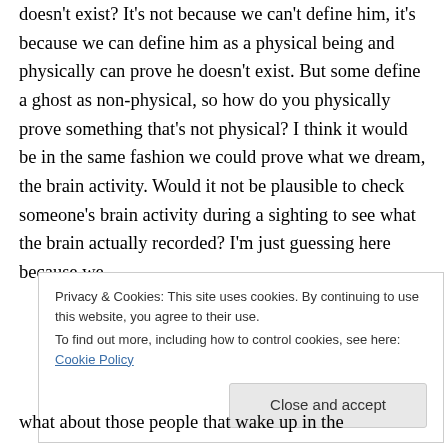doesn't exist? It's not because we can't define him, it's because we can define him as a physical being and physically can prove he doesn't exist. But some define a ghost as non-physical, so how do you physically prove something that's not physical? I think it would be in the same fashion we could prove what we dream, the brain activity. Would it not be plausible to check someone's brain activity during a sighting to see what the brain actually recorded? I'm just guessing here because we
Privacy & Cookies: This site uses cookies. By continuing to use this website, you agree to their use.
To find out more, including how to control cookies, see here: Cookie Policy
what about those people that wake up in the